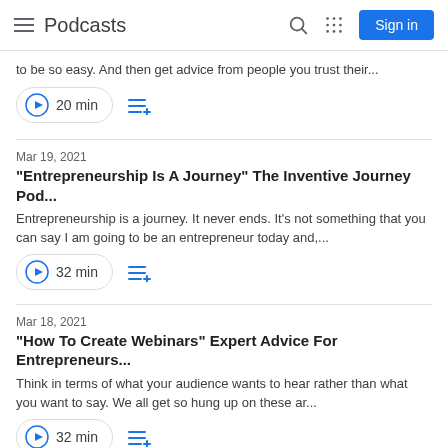Podcasts — Sign in
to be so easy. And then get advice from people you trust their...
20 min
Mar 19, 2021
"Entrepreneurship Is A Journey" The Inventive Journey Pod...
Entrepreneurship is a journey. It never ends. It's not something that you can say I am going to be an entrepreneur today and,...
32 min
Mar 18, 2021
"How To Create Webinars" Expert Advice For Entrepreneurs...
Think in terms of what your audience wants to hear rather than what you want to say. We all get so hung up on these ar...
32 min